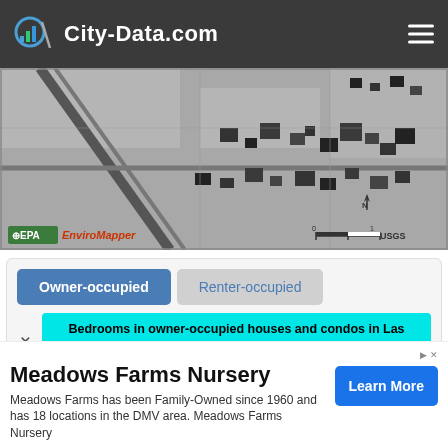City-Data.com
[Figure (map): Black and white aerial/satellite map image from EPA EnviroMapper and USGS showing Las Vegas NV area with roads, buildings, and terrain features. Shows north arrow and scale bar.]
Owner-occupied
Renter-occupied
Bedrooms in owner-occupied houses and condos in Las Vegas, NV (89131)
(Note: Zip/numbers scored by Zip code 89131 population)
Meadows Farms Nursery
Meadows Farms has been Family-Owned since 1960 and has 18 locations in the DMV area. Meadows Farms Nursery
Learn More